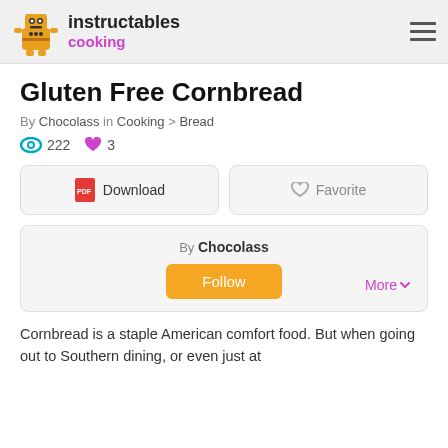instructables cooking
Gluten Free Cornbread
By Chocolass in Cooking > Bread
222 views  3 favorites
Download  Favorite
By Chocolass  Follow  More
Cornbread is a staple American comfort food. But when going out to Southern dining, or even just at